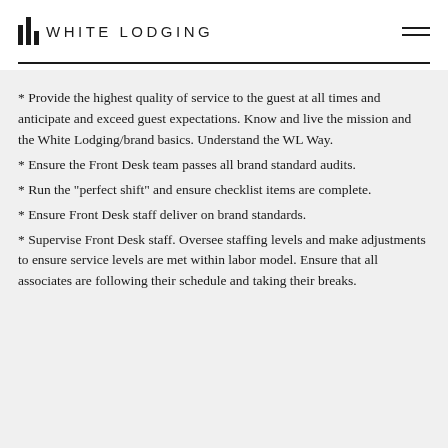IIL WHITE LODGING
* Provide the highest quality of service to the guest at all times and anticipate and exceed guest expectations. Know and live the mission and the White Lodging/brand basics. Understand the WL Way.
* Ensure the Front Desk team passes all brand standard audits.
* Run the "perfect shift" and ensure checklist items are complete.
* Ensure Front Desk staff deliver on brand standards.
* Supervise Front Desk staff. Oversee staffing levels and make adjustments to ensure service levels are met within labor model. Ensure that all associates are following their schedule and taking their breaks.